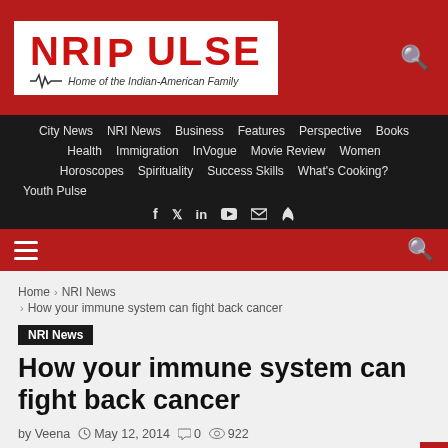[Figure (logo): NRI Pulse logo - Home of the Indian-American Family, with heartbeat line graphic]
City News  NRI News  Business  Features  Perspective  Books  Health  Immigration  InVogue  Movie Review  Women  Horoscopes  Spirituality  Success Skills  What's Cooking?  Youth Pulse
Social icons: f, Twitter, in, YouTube, email, RSS
Hamburger menu and search icon
Home > NRI News > How your immune system can fight back cancer
NRI News
How your immune system can fight back cancer
by Veena  May 12, 2014  0  922